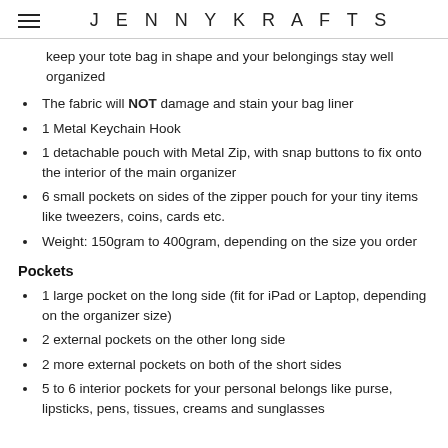JENNYKRAFTS
keep your tote bag in shape and your belongings stay well organized
The fabric will NOT damage and stain your bag liner
1 Metal Keychain Hook
1 detachable pouch with Metal Zip, with snap buttons to fix onto the interior of the main organizer
6 small pockets on sides of the zipper pouch for your tiny items like tweezers, coins, cards etc.
Weight: 150gram to 400gram, depending on the size you order
Pockets
1 large pocket on the long side (fit for iPad or Laptop, depending on the organizer size)
2 external pockets on the other long side
2 more external pockets on both of the short sides
5 to 6 interior pockets for your personal belongs like purse, lipsticks, pens, tissues, creams and sunglasses